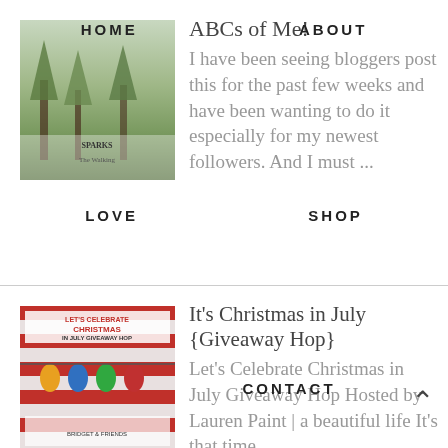HOME   ABOUT   LOVE   SHOP   CONTACT
[Figure (photo): Blog thumbnail image showing a nature/forest scene with text overlay including SPARKS and The Walking]
ABCs of Me!
I have been seeing bloggers post this for the past few weeks and have been wanting to do it especially for my newest followers. And I must ...
[Figure (photo): Christmas in July Giveaway Hop promotional image with red and white stripes and colorful light bulbs]
It's Christmas in July {Giveaway Hop}
Let's Celebrate Christmas in July Giveaway Hop Hosted by Lauren Paint | a beautiful life It's that time